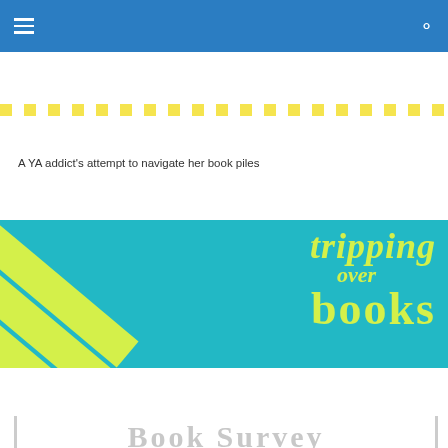Navigation bar with hamburger menu and search icon
[Figure (illustration): Yellow and white checkered border strip]
A YA addict's attempt to navigate her book piles
[Figure (logo): Tripping Over Books blog banner with teal background and yellow-green diagonal stripes on the left, yellow-green text reading 'tripping over books']
[Figure (illustration): Yellow and white checkered border strip]
Peace Out, 2012: End of Year Book Survey
Privacy & Cookies: This site uses cookies. By continuing to use this website, you agree to their use.
To find out more, including how to control cookies, see here: Cookie Policy
Close and accept
[Figure (illustration): Partially visible 'Book Survey' text in large gray letters at the bottom]